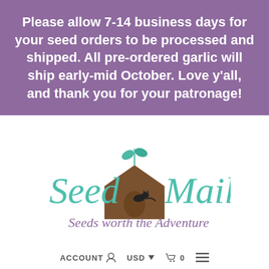Please allow 7-14 business days for your seed orders to be processed and shipped. All pre-ordered garlic will ship early-mid October. Love y'all, and thank you for your patronage!
[Figure (logo): Seed Mail logo with teal script text reading 'Seed Mail', a brown barn/box shape with a green plant sprout and a small cat, and purple italic text 'Seeds worth the Adventure']
ACCOUNT  USD  0  ≡
HOME / CORN / EARLY GOLDEN BANTAM CORN | SEED MAIL